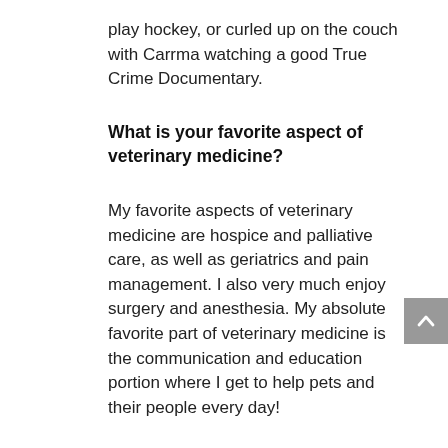play hockey, or curled up on the couch with Carrma watching a good True Crime Documentary.
What is your favorite aspect of veterinary medicine?
My favorite aspects of veterinary medicine are hospice and palliative care, as well as geriatrics and pain management. I also very much enjoy surgery and anesthesia. My absolute favorite part of veterinary medicine is the communication and education portion where I get to help pets and their people every day!